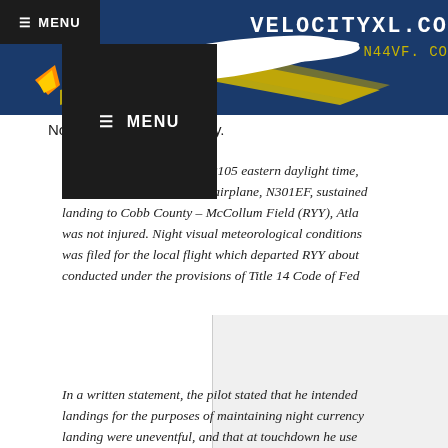[Figure (screenshot): Website header banner for velocityxl.com / N44VF showing a white airplane silhouette on dark blue background with yellow lightning bolt accent. Top-left has a dark menu bar with hamburger menu and MENU text. Site title VELOCITYXL.CO and N44VF. CO in yellow/white monospace font on the right side.]
[Figure (screenshot): Dark dropdown menu overlay showing hamburger icon and MENU text in white on black background]
Nose gear vibration shimy.
On October 1, 2014, about 2105 eastern daylight time, experimental amateur-built airplane, N301EF, sustained landing to Cobb County – McCollum Field (RYY), Atla was not injured. Night visual meteorological conditions was filed for the local flight which departed RYY about conducted under the provisions of Title 14 Code of Fed
In a written statement, the pilot stated that he intended landings for the purposes of maintaining night currency landing were uneventful, and that at touchdown he use